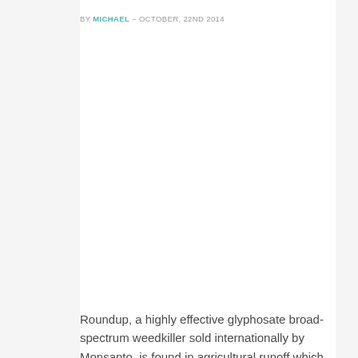BY MICHAEL – OCTOBER, 22ND 2014
[Figure (photo): Large image placeholder area (image not visible in scan)]
Roundup, a highly effective glyphosate broad-spectrum weedkiller sold internationally by Monsanto, is found in agricultural runoff which makes its